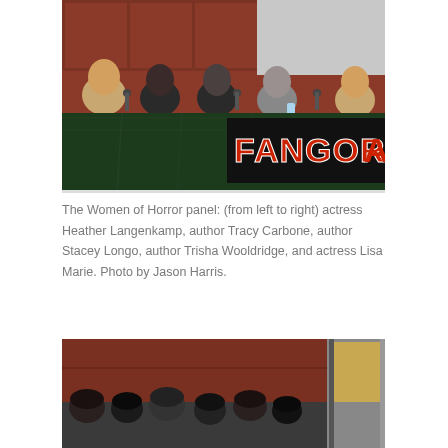[Figure (photo): A panel at what appears to be a horror convention. Five women sit behind a long table covered with a dark green tablecloth. A black banner with red FANGORIA text is partially visible on the right side of the table. The background wall is reddish-brown with rectangular panels. The women are posed and some appear to be speaking.]
The Women of Horror panel: (from left to right) actress Heather Langenkamp, author Tracy Carbone, author Stacey Longo, author Trisha Wooldridge, and actress Lisa Marie. Photo by Jason Harris.
[Figure (photo): A partial view of what appears to be the same convention room, showing the reddish-brown wall with a door frame visible, and audience members' heads visible at the bottom of the frame.]